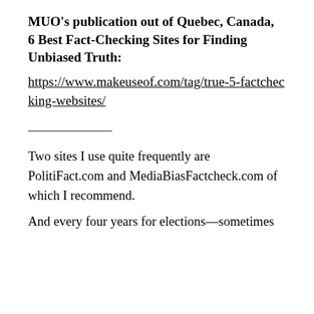MUO's publication out of Quebec, Canada, 6 Best Fact-Checking Sites for Finding Unbiased Truth:
https://www.makeuseof.com/tag/true-5-factchecking-websites/
Two sites I use quite frequently are PolitiFact.com and MediaBiasFactcheck.com of which I recommend.
And every four years for elections—sometimes